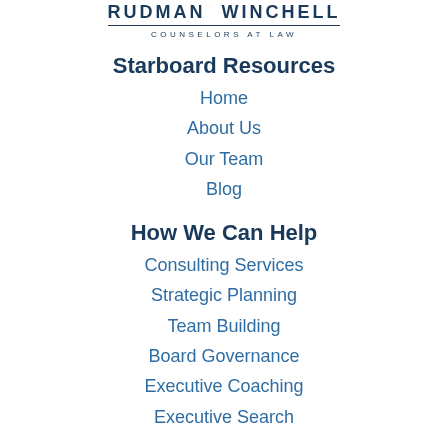RUDMAN WINCHELL
COUNSELORS AT LAW
Starboard Resources
Home
About Us
Our Team
Blog
How We Can Help
Consulting Services
Strategic Planning
Team Building
Board Governance
Executive Coaching
Executive Search